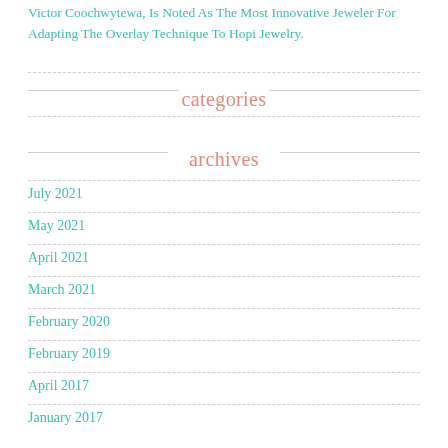Victor Coochwytewa, Is Noted As The Most Innovative Jeweler For Adapting The Overlay Technique To Hopi Jewelry.
categories
archives
July 2021
May 2021
April 2021
March 2021
February 2020
February 2019
April 2017
January 2017